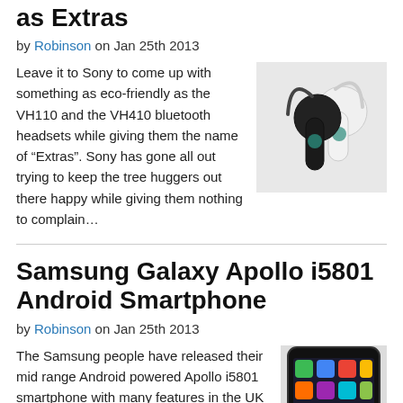as Extras
by Robinson on Jan 25th 2013
Leave it to Sony to come up with something as eco-friendly as the VH110 and the VH410 bluetooth headsets while giving them the name of “Extras”. Sony has gone all out trying to keep the tree huggers out there happy while giving them nothing to complain…
[Figure (photo): Two Sony bluetooth headsets, one black and one white, shown side by side]
Samsung Galaxy Apollo i5801 Android Smartphone
by Robinson on Jan 25th 2013
The Samsung people have released their mid range Android powered Apollo i5801 smartphone with many features in the UK market through
[Figure (photo): Samsung Galaxy Apollo i5801 smartphone showing app grid on screen]